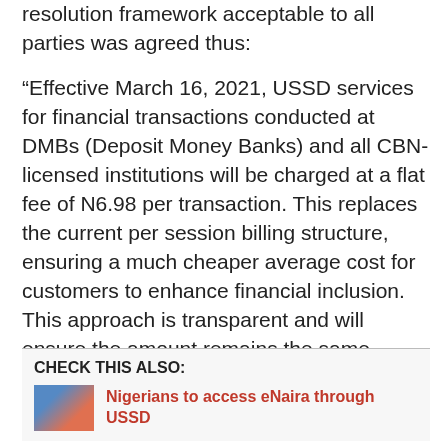resolution framework acceptable to all parties was agreed thus:
“Effective March 16, 2021, USSD services for financial transactions conducted at DMBs (Deposit Money Banks) and all CBN-licensed institutions will be charged at a flat fee of N6.98 per transaction. This replaces the current per session billing structure, ensuring a much cheaper average cost for customers to enhance financial inclusion. This approach is transparent and will ensure the amount remains the same, regardless of the number of sessions per transaction.
CHECK THIS ALSO:
Nigerians to access eNaira through USSD